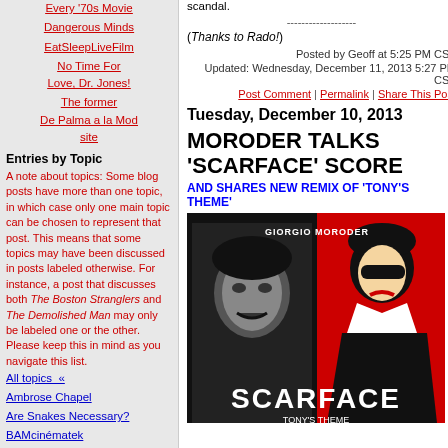Every '70s Movie
Dangerous Minds
EatSleepLiveFilm
No Time For Love, Dr. Jones!
The former De Palma a la Mod site
Entries by Topic
A note about topics: Some blog posts have more than one topic, in which case only one main topic can be chosen to represent that post. This means that some topics may have been discussed in posts labeled otherwise. For instance, a post that discusses both The Boston Stranglers and The Demolished Man may only be labeled one or the other. Please keep this in mind as you navigate this list.
All topics  «
Ambrose Chapel
Are Snakes Necessary?
BAMcinématek
Bart De Palma
Beaune Thriller Fest
Becoming Visionary
scandal.
-------------------
(Thanks to Rado!)
Posted by Geoff at 5:25 PM CST
Updated: Wednesday, December 11, 2013 5:27 PM CST
Post Comment | Permalink | Share This Post
Tuesday, December 10, 2013
MORODER TALKS 'SCARFACE' SCORE
AND SHARES NEW REMIX OF 'TONY'S THEME'
[Figure (illustration): Scarface album cover with Giorgio Moroder text, featuring a black and white photo of Al Pacino on the left and a stylized icon figure with sunglasses on a red background on the right, with SCARFACE text at the bottom]